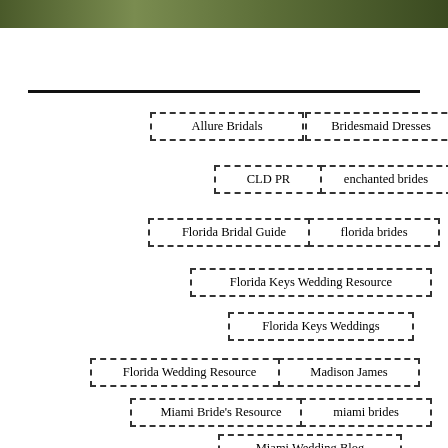[Figure (photo): Outdoor photo strip at top of page, greenery/nature scene]
Allure Bridals
Bridesmaid Dresses
CLD PR
enchanted brides
Florida Bridal Guide
florida brides
Florida Keys Wedding Resource
Florida Keys Weddings
Florida Wedding Resource
Madison James
Miami Bride's Resource
miami brides
Miami Wedding Blog